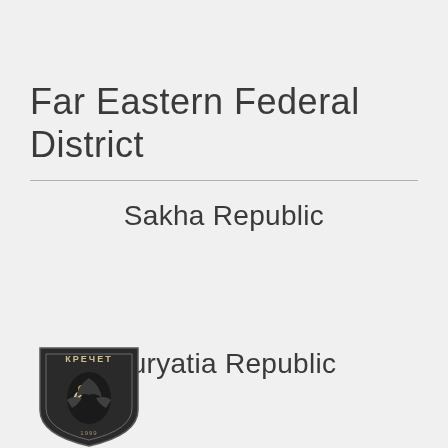Far Eastern Federal District
Sakha Republic
Buryatia Republic
[Figure (logo): Shield-shaped emblem with Cyrillic text 'КРЕЧЕТ' at top and an eagle/falcon head in the center, dark/black color scheme]